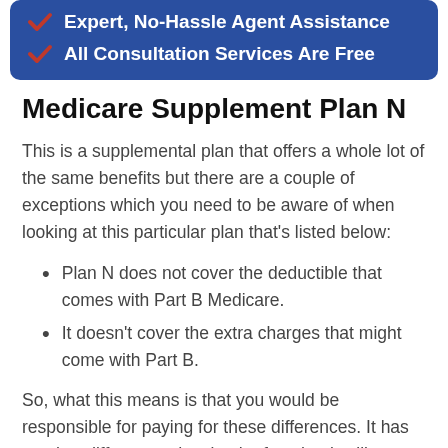[Figure (infographic): Blue banner with two red checkmarks and white text: 'Expert, No-Hassle Agent Assistance' and 'All Consultation Services Are Free']
Medicare Supplement Plan N
This is a supplemental plan that offers a whole lot of the same benefits but there are a couple of exceptions which you need to be aware of when looking at this particular plan that’s listed below:
Plan N does not cover the deductible that comes with Part B Medicare.
It doesn’t cover the extra charges that might come with Part B.
So, what this means is that you would be responsible for paying for these differences. It has another difference, despite the fact that it will pay 100% of the